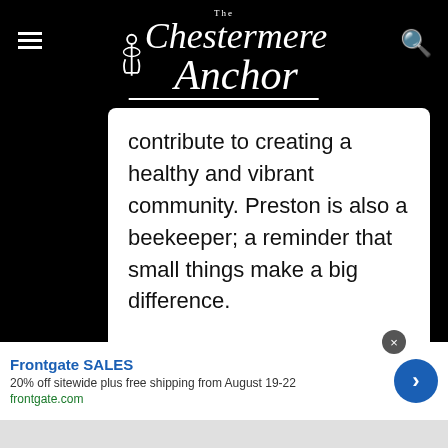The Chestermere Anchor
contribute to creating a healthy and vibrant community. Preston is also a beekeeper; a reminder that small things make a big difference.
[Figure (other): Facebook and Twitter share buttons]
[Figure (other): Galaxy Dental advertisement banner with space/galaxy theme]
[Figure (other): Frontgate SALES advertisement overlay: 20% off sitewide plus free shipping from August 19-22, frontgate.com]